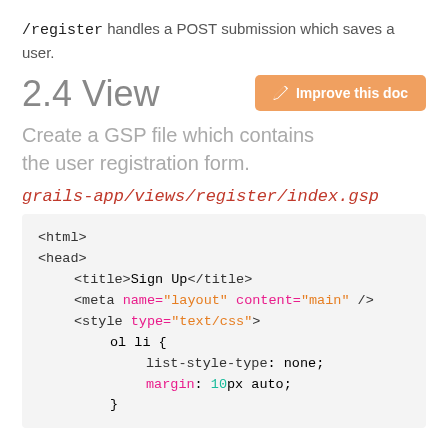/register handles a POST submission which saves a user.
2.4 View
Create a GSP file which contains the user registration form.
grails-app/views/register/index.gsp
<html>
<head>
    <title>Sign Up</title>
    <meta name="layout" content="main" />
    <style type="text/css">
        ol li {
            list-style-type: none;
            margin: 10px auto;
        }
    </style>